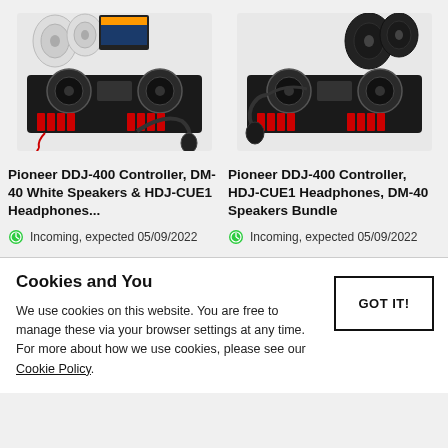[Figure (photo): Pioneer DDJ-400 DJ controller with DM-40 White Speakers and HDJ-CUE1 Headphones product bundle photo]
[Figure (photo): Pioneer DDJ-400 DJ controller with HDJ-CUE1 Headphones and DM-40 Speakers bundle photo]
Pioneer DDJ-400 Controller, DM-40 White Speakers & HDJ-CUE1 Headphones...
Pioneer DDJ-400 Controller, HDJ-CUE1 Headphones, DM-40 Speakers Bundle
Incoming, expected 05/09/2022
Incoming, expected 05/09/2022
Cookies and You
We use cookies on this website. You are free to manage these via your browser settings at any time. For more about how we use cookies, please see our Cookie Policy.